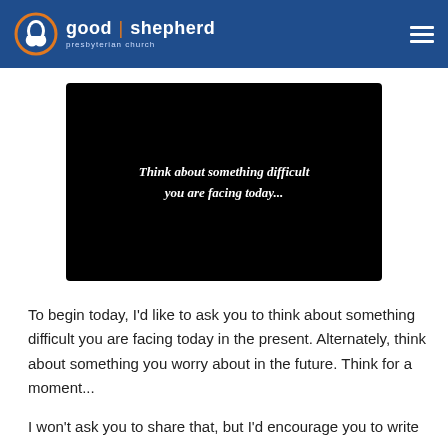good shepherd presbyterian church
[Figure (screenshot): Black video thumbnail with italic bold white text reading: Think about something difficult you are facing today...]
To begin today, I'd like to ask you to think about something difficult you are facing today in the present. Alternately, think about something you worry about in the future. Think for a moment...
I won't ask you to share that, but I'd encourage you to write